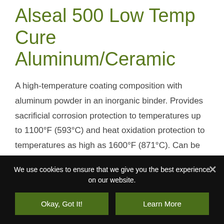Alseal 500 Low Temp Cure Aluminum/Ceramic
A high-temperature coating composition with aluminum powder in an inorganic binder. Provides sacrificial corrosion protection to temperatures up to 1100°F (593°C) and heat oxidation protection to temperatures as high as 1600°F (871°C). Can be cured as low as 350°F (177°C). Not suitable for use on mild steel substrates.
We use cookies to ensure that we give you the best experience on our website.
Okay, Got It!
Learn More